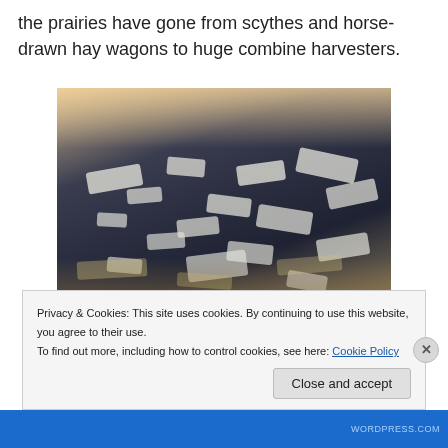the prairies have gone from scythes and horse-drawn hay wagons to huge combine harvesters.
[Figure (photo): Aerial photograph of snowy fields or frozen wetlands viewed from above, with dark water/land patches and white snow/ice areas, warm sunlight visible in upper portion]
Privacy & Cookies: This site uses cookies. By continuing to use this website, you agree to their use.
To find out more, including how to control cookies, see here: Cookie Policy
Close and accept